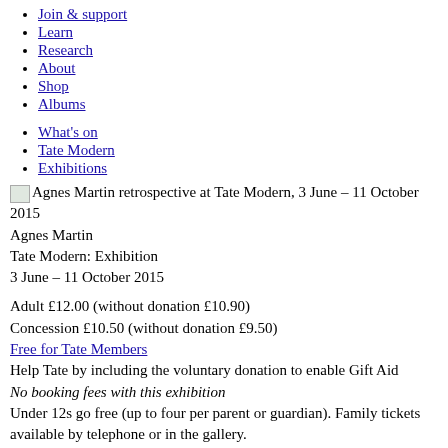Join & support
Learn
Research
About
Shop
Albums
What's on
Tate Modern
Exhibitions
Agnes Martin retrospective at Tate Modern, 3 June – 11 October 2015
Agnes Martin
Tate Modern: Exhibition
3 June – 11 October 2015
Adult £12.00 (without donation £10.90)
Concession £10.50 (without donation £9.50)
Free for Tate Members
Help Tate by including the voluntary donation to enable Gift Aid
No booking fees with this exhibition
Under 12s go free (up to four per parent or guardian). Family tickets available by telephone or in the gallery.
1 of 5